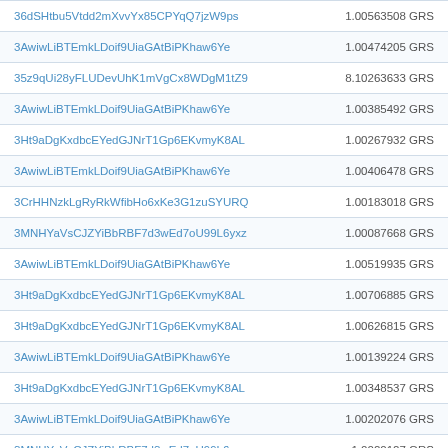| Address | Amount |
| --- | --- |
| 36dSHtbu5Vtdd2mXvvYx85CPYqQ7jzW9ps | 1.00563508 GRS |
| 3AwiwLiBTEmkLDoif9UiaGAtBiPKhaw6Ye | 1.00474205 GRS |
| 35z9qUi28yFLUDevUhK1mVgCx8WDgM1tZ9 | 8.10263633 GRS |
| 3AwiwLiBTEmkLDoif9UiaGAtBiPKhaw6Ye | 1.00385492 GRS |
| 3Ht9aDgKxdbcEYedGJNrT1Gp6EKvmyK8AL | 1.00267932 GRS |
| 3AwiwLiBTEmkLDoif9UiaGAtBiPKhaw6Ye | 1.00406478 GRS |
| 3CrHHNzkLgRyRkWfibHo6xKe3G1zuSYURQ | 1.00183018 GRS |
| 3MNHYaVsCJZYiBbRBF7d3wEd7oU99L6yxz | 1.00087668 GRS |
| 3AwiwLiBTEmkLDoif9UiaGAtBiPKhaw6Ye | 1.00519935 GRS |
| 3Ht9aDgKxdbcEYedGJNrT1Gp6EKvmyK8AL | 1.00706885 GRS |
| 3Ht9aDgKxdbcEYedGJNrT1Gp6EKvmyK8AL | 1.00626815 GRS |
| 3AwiwLiBTEmkLDoif9UiaGAtBiPKhaw6Ye | 1.00139224 GRS |
| 3Ht9aDgKxdbcEYedGJNrT1Gp6EKvmyK8AL | 1.00348537 GRS |
| 3AwiwLiBTEmkLDoif9UiaGAtBiPKhaw6Ye | 1.00202076 GRS |
| 3MNHYaVsCJZYiBbRBF7d3wEd7oU99L6yxz | 1.0020127 GRS |